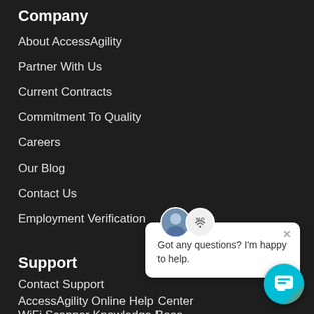Company
About AccessAgility
Partner With Us
Current Contracts
Commitment To Quality
Careers
Our Blog
Contact Us
Employment Verification
[Figure (screenshot): Chat popup with avatars showing a person and a WiFi icon, message 'Got any questions? I'm happy to help.' with a close button, and a teal chat bubble button in the bottom right]
Support
Contact Support
AccessAgility Online Help Center
WiFi Scanner Knowledge Base